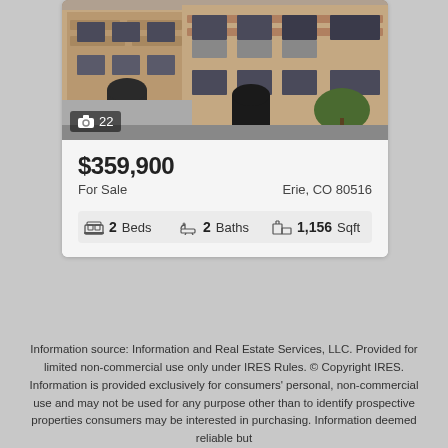[Figure (photo): Exterior photo of a brick apartment/condo building with balconies and arched entrances. Photo count badge shows camera icon and '22'.]
$359,900
For Sale
Erie, CO 80516
2 Beds   2 Baths   1,156 Sqft
Information source: Information and Real Estate Services, LLC. Provided for limited non-commercial use only under IRES Rules. © Copyright IRES. Information is provided exclusively for consumers' personal, non-commercial use and may not be used for any purpose other than to identify prospective properties consumers may be interested in purchasing. Information deemed reliable but